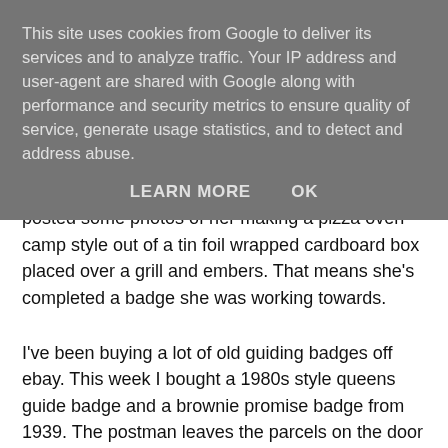This site uses cookies from Google to deliver its services and to analyze traffic. Your IP address and user-agent are shared with Google along with performance and security metrics to ensure quality of service, generate usage statistics, and to detect and address abuse.
LEARN MORE   OK
posted some photos of her making a pizza oven camp style out of a tin foil wrapped cardboard box placed over a grill and embers. That means she's completed a badge she was working towards.
I've been buying a lot of old guiding badges off ebay. This week I bought a 1980s style queens guide badge and a brownie promise badge from 1939. The postman leaves the parcels on the door step, and then rings the door bell. All delivery people do that. Put the parcel on door mat, ring the bell then quickly leave the driveway in case we actually open the door! We just stand at the glass panel and give them a thumbs up. Once they leave the drive I always open the door and shout 'thank you for coming'. These delivery drivers are